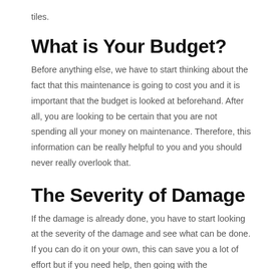tiles.
What is Your Budget?
Before anything else, we have to start thinking about the fact that this maintenance is going to cost you and it is important that the budget is looked at beforehand. After all, you are looking to be certain that you are not spending all your money on maintenance. Therefore, this information can be really helpful to you and you should never really overlook that.
The Severity of Damage
If the damage is already done, you have to start looking at the severity of the damage and see what can be done. If you can do it on your own, this can save you a lot of effort but if you need help, then going with the professionals is